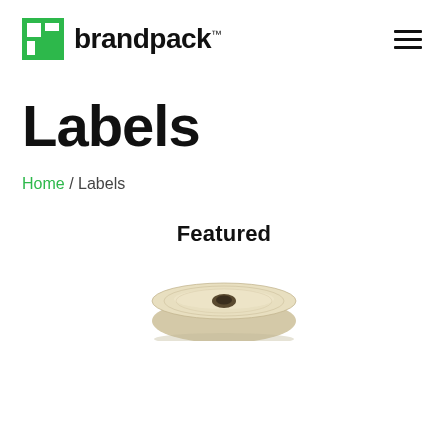brandpack™
Labels
Home / Labels
Featured
[Figure (photo): A roll of beige/kraft adhesive labels on a roll, viewed from the side at a slight angle, partially visible at the bottom of the page.]